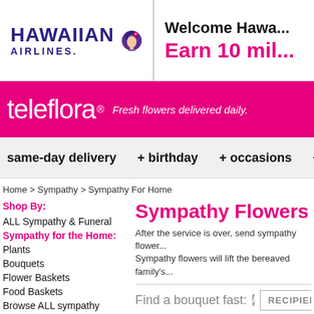[Figure (logo): Hawaiian Airlines logo with purple text and mascot icon, alongside 'Welcome Hawa...' and 'Earn 10 mil...' promotional text in pink]
[Figure (logo): Teleflora logo on pink/magenta background with tagline 'Fresh flowers delivered daily.']
same-day delivery + birthday + occasions + s...
Home > Sympathy > Sympathy For Home
Shop By:
ALL Sympathy & Funeral
Sympathy for the Home:
Plants
Bouquets
Flower Baskets
Food Baskets
Browse ALL sympathy
Sympathy Flowers f...
After the service is over, send sympathy flower... Sympathy flowers will lift the bereaved family's...
Find a bouquet fast: RECIPIENT...